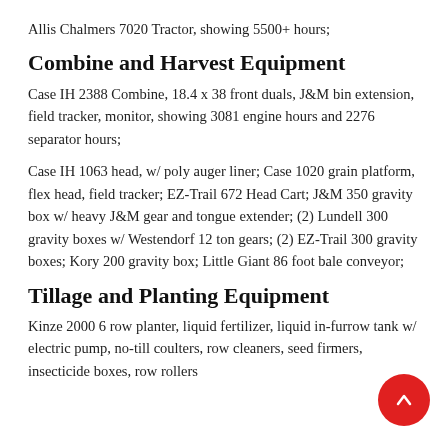Allis Chalmers 7020 Tractor, showing 5500+ hours;
Combine and Harvest Equipment
Case IH 2388 Combine, 18.4 x 38 front duals, J&M bin extension, field tracker, monitor, showing 3081 engine hours and 2276 separator hours;
Case IH 1063 head, w/ poly auger liner; Case 1020 grain platform, flex head, field tracker; EZ-Trail 672 Head Cart; J&M 350 gravity box w/ heavy J&M gear and tongue extender; (2) Lundell 300 gravity boxes w/ Westendorf 12 ton gears; (2) EZ-Trail 300 gravity boxes; Kory 200 gravity box; Little Giant 86 foot bale conveyor;
Tillage and Planting Equipment
Kinze 2000 6 row planter, liquid fertilizer, liquid in-furrow tank w/ electric pump, no-till coulters, row cleaners, seed firmers, insecticide boxes, row rollers